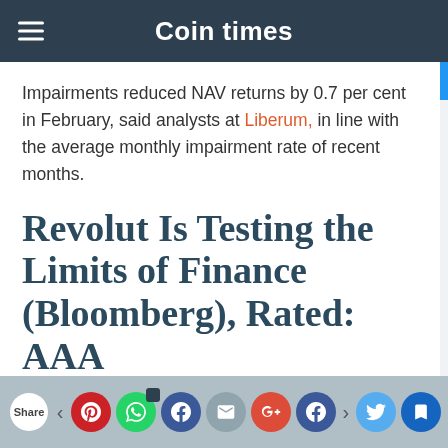Coin times
Impairments reduced NAV returns by 0.7 per cent in February, said analysts at Liberum, in line with the average monthly impairment rate of recent months.
Revolut Is Testing the Limits of Finance (Bloomberg), Rated: AAA
Share [social icons: Pinterest, WhatsApp, Facebook, Email, Google+, Facebook, Twitter, Bookmark]